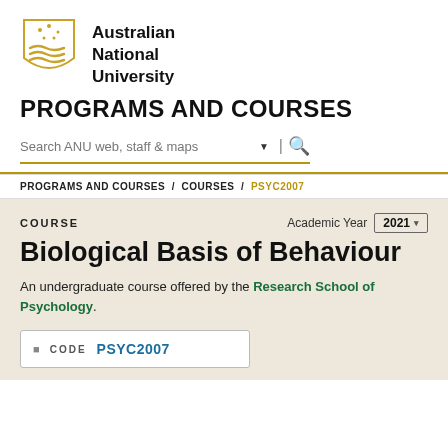[Figure (logo): Australian National University shield logo in gold with wave and star motifs]
Australian National University
PROGRAMS AND COURSES
Search ANU web, staff & maps
PROGRAMS AND COURSES / COURSES / PSYC2007
COURSE
Academic Year 2021
Biological Basis of Behaviour
An undergraduate course offered by the Research School of Psychology.
CODE PSYC2007